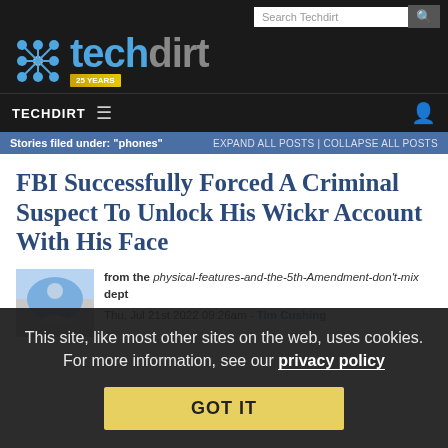Techdirt — 25 Years
Search Techdirt
TECHDIRT ☰
Stories filed under: "phones" EXPAND ALL POSTS | COLLAPSE ALL POSTS
FBI Successfully Forced A Criminal Suspect To Unlock His Wickr Account With His Face
from the physical-features-and-the-5th-Amendment-don't-mix dept
Thu, Jul 21st 2022 09:26am - Tim Cushing
This site, like most other sites on the web, uses cookies. For more information, see our privacy policy
GOT IT